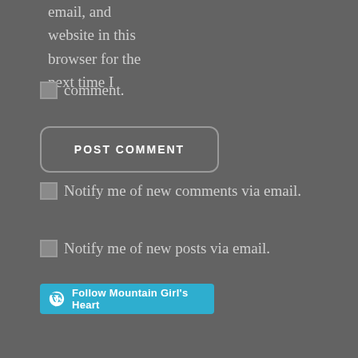email, and website in this browser for the next time I comment.
POST COMMENT
Notify me of new comments via email.
Notify me of new posts via email.
[Figure (other): Follow Mountain Girl's Heart button with WordPress logo]